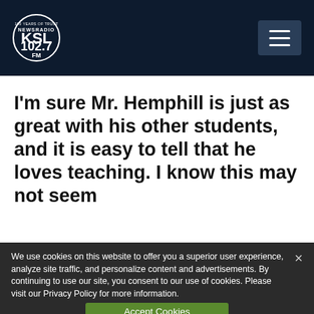[Figure (logo): KSL NewsRadio 102.7FM logo in white circle on dark navy header with hamburger menu button]
I'm sure Mr. Hemphill is just as great with his other students, and it is easy to tell that he loves teaching. I know this may not seem
We use cookies on this website to offer you a superior user experience, analyze site traffic, and personalize content and advertisements. By continuing to use our site, you consent to our use of cookies. Please visit our Privacy Policy for more information.
Accept Cookies